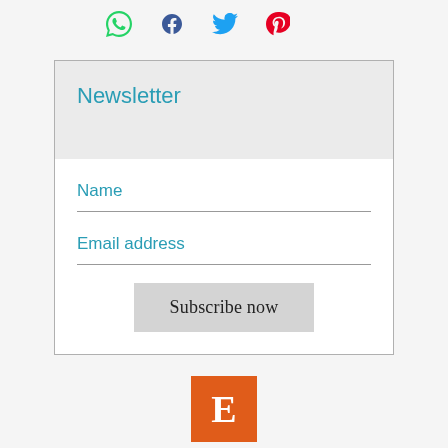[Figure (other): Social share icons: WhatsApp (green), Facebook (blue f), Twitter (blue bird), Pinterest (red P)]
Newsletter
Name
Email address
Subscribe now
[Figure (logo): Etsy logo: orange square with white letter E]